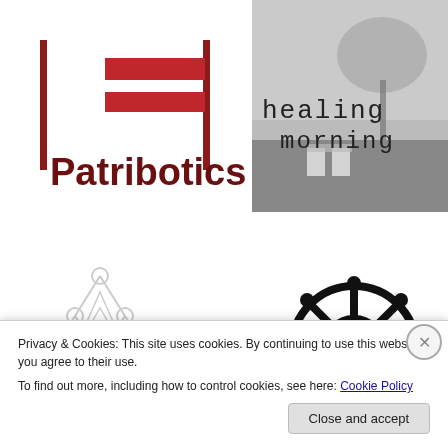[Figure (logo): Patribotics logo with red geometric stripes and vertical red bar dividers, text 'Patribotics' in dark red]
[Figure (photo): Black and white foggy outdoor photo with a tree in the background and lawn chairs, text overlay: 'healing morning' in monospace typewriter font]
[Figure (logo): Karma Waves logo with a stylized atomium-like geometric figure above partial text 'KARMA WAVES']
[Figure (logo): Ship's wheel with anchor symbol in the center, black silhouette logo]
Privacy & Cookies: This site uses cookies. By continuing to use this website, you agree to their use.
To find out more, including how to control cookies, see here: Cookie Policy
Close and accept